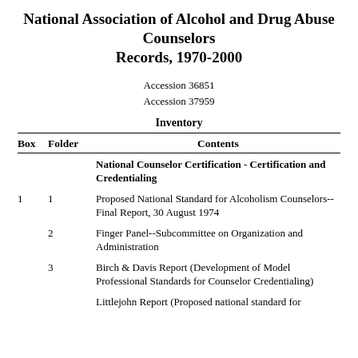National Association of Alcohol and Drug Abuse Counselors Records, 1970-2000
Accession 36851
Accession 37959
Inventory
| Box | Folder | Contents |
| --- | --- | --- |
|  |  | National Counselor Certification - Certification and Credentialing |
| 1 | 1 | Proposed National Standard for Alcoholism Counselors--Final Report, 30 August 1974 |
|  | 2 | Finger Panel--Subcommittee on Organization and Administration |
|  | 3 | Birch & Davis Report (Development of Model Professional Standards for Counselor Credentialing) |
|  |  | Littlejohn Report (Proposed national standard for... |